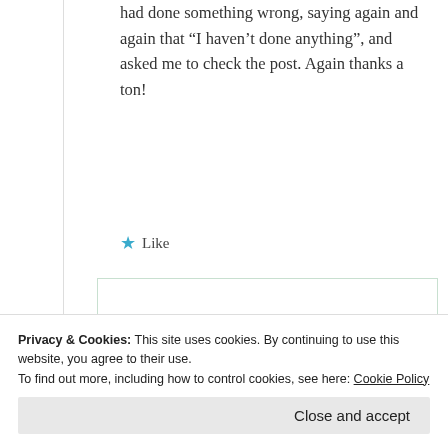had done something wrong, saying again and again that “I haven’t done anything”, and asked me to check the post. Again thanks a ton!
★ Like
[Figure (screenshot): Nested comment block with avatar and partially visible blurred text]
Privacy & Cookies: This site uses cookies. By continuing to use this website, you agree to their use. To find out more, including how to control cookies, see here: Cookie Policy
Close and accept